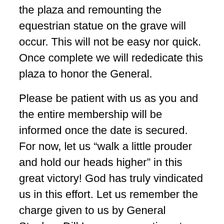the plaza and remounting the equestrian statue on the grave will occur. This will not be easy nor quick. Once complete we will rededicate this plaza to honor the General.
Please be patient with us as you and the entire membership will be informed once the date is secured. For now, let us “walk a little prouder and hold our heads higher” in this great victory! God has truly vindicated us in this effort. Let us remember the charge given to us by General Stephen Dill Lee as we continue to press forward.
Deo Vindicie,
Larry McCluney, Jr.
Commander-in-Chief